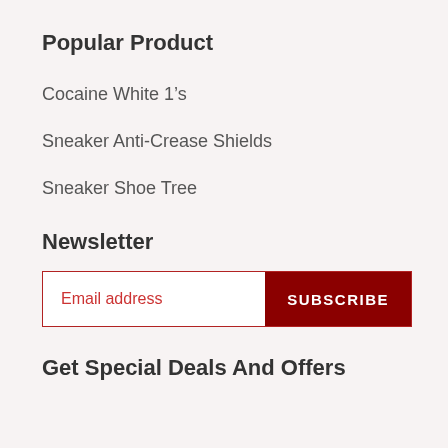Popular Product
Cocaine White 1’s
Sneaker Anti-Crease Shields
Sneaker Shoe Tree
Newsletter
Email address [SUBSCRIBE]
Get Special Deals And Offers